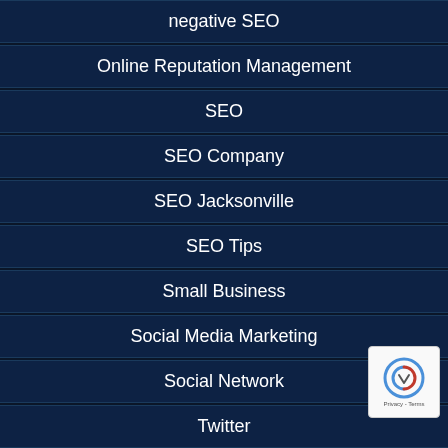negative SEO
Online Reputation Management
SEO
SEO Company
SEO Jacksonville
SEO Tips
Small Business
Social Media Marketing
Social Network
Twitter
Uncategorized
Web Design
[Figure (logo): Social media icons: Facebook, Twitter, LinkedIn, Yelp]
© 2022 Local SEO Jacksonville Company. All Rights Reserved. Switch To Desktop Version